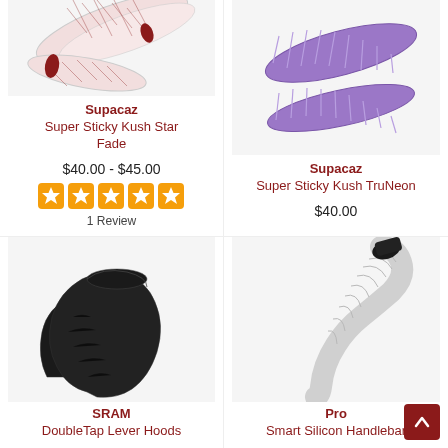[Figure (photo): White and red patterned cycling handlebar tape - Supacaz Super Sticky Kush Star Fade]
Supacaz
Super Sticky Kush Star Fade
$40.00 - $45.00
[Figure (other): 5 orange star rating icons]
1 Review
[Figure (photo): Purple cycling handlebar tape - Supacaz Super Sticky Kush TruNeon]
Supacaz
Super Sticky Kush TruNeon
$40.00
[Figure (photo): Black rubber brake lever hoods - SRAM DoubleTap Lever Hoods]
SRAM
DoubleTap Lever Hoods
[Figure (photo): White cycling handlebar tape with black end cap - Pro Smart Silicon Handlebar]
Pro
Smart Silicon Handlebar